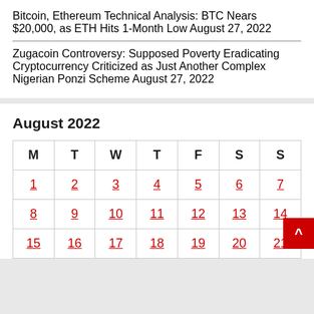Bitcoin, Ethereum Technical Analysis: BTC Nears $20,000, as ETH Hits 1-Month Low August 27, 2022
Zugacoin Controversy: Supposed Poverty Eradicating Cryptocurrency Criticized as Just Another Complex Nigerian Ponzi Scheme August 27, 2022
August 2022
| M | T | W | T | F | S | S |
| --- | --- | --- | --- | --- | --- | --- |
| 1 | 2 | 3 | 4 | 5 | 6 | 7 |
| 8 | 9 | 10 | 11 | 12 | 13 | 14 |
| 15 | 16 | 17 | 18 | 19 | 20 | 21 |